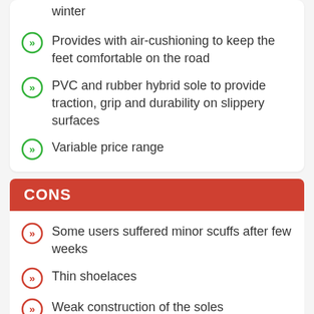winter
Provides with air-cushioning to keep the feet comfortable on the road
PVC and rubber hybrid sole to provide traction, grip and durability on slippery surfaces
Variable price range
CONS
Some users suffered minor scuffs after few weeks
Thin shoelaces
Weak construction of the soles